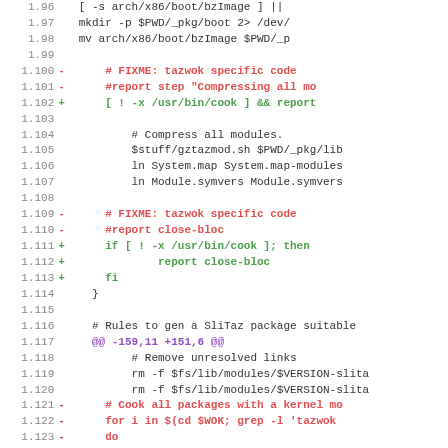Code diff showing lines 1.96 through 1.127 of a patch file, including shell script modifications related to kernel package building for SliTaz Linux.